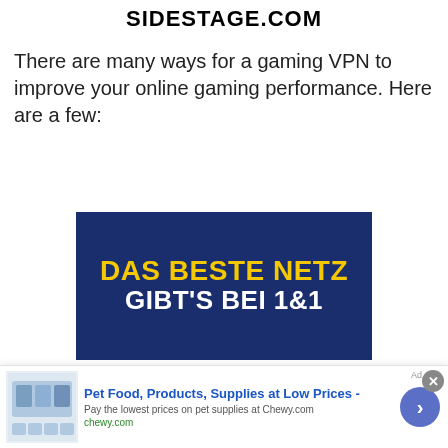SIDESTAGE.COM
There are many ways for a gaming VPN to improve your online gaming performance. Here are a few:
[Figure (illustration): Blue advertisement banner with bold yellow text 'DAS BESTE NETZ' and white text 'GIBT'S BEI 1&1']
[Figure (screenshot): Bottom ad bar for Chewy.com: 'Pet Food, Products, Supplies at Low Prices - Pay the lowest prices on pet supplies at Chewy.com' with product images and a navigation arrow button]